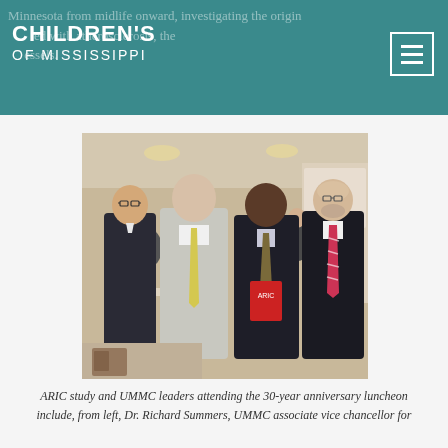CHILDREN'S OF MISSISSIPPI
Minnesota from midlife onward, investigating the origin associated with atherosclerosis, the clogging of the body's blood vessels.
[Figure (photo): Four men posing together at a formal luncheon event. From left: a tall man with glasses in a dark suit, an elderly man in a light gray suit with a yellow tie, a Black man in a dark suit holding a red ARIC book/plaque, and a bald man with glasses wearing a striped tie. Background shows a ballroom with other attendees.]
ARIC study and UMMC leaders attending the 30-year anniversary luncheon include, from left, Dr. Richard Summers, UMMC associate vice chancellor for